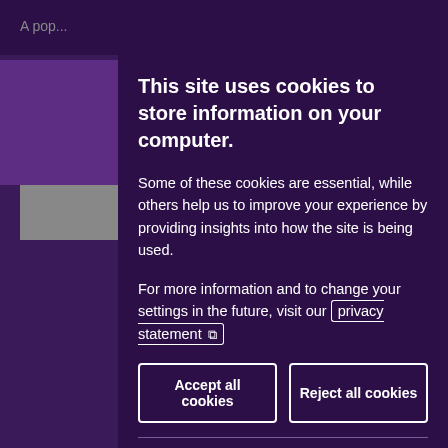A pop...
This site uses cookies to store information on your computer.
Some of these cookies are essential, while others help us to improve your experience by providing insights into how the site is being used.
For more information and to change your settings in the future, visit our privacy statement ↗
Accept all cookies | Reject all cookies
Necessary Cookies
Necessary cookies enable core functionality such as page navigation and access to secure areas.